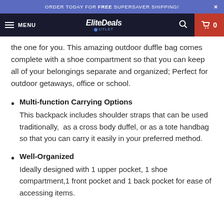ORDER TODAY FOR FREE SUPERSAVER SHIPPING!
EliteDeals OUTLET — MENU — 0
the one for you. This amazing outdoor duffle bag comes complete with a shoe compartment so that you can keep all of your belongings separate and organized; Perfect for outdoor getaways, office or school.
Multi-function Carrying Options — This backpack includes shoulder straps that can be used traditionally,  as a cross body duffel, or as a tote handbag so that you can carry it easily in your preferred method.
Well-Organized — Ideally designed with 1 upper pocket, 1 shoe compartment,1 front pocket and 1 back pocket for ease of accessing items.